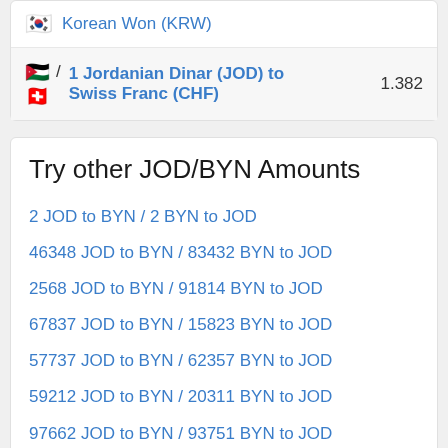Korean Won (KRW)
1 Jordanian Dinar (JOD) to Swiss Franc (CHF)   1.382
Try other JOD/BYN Amounts
2 JOD to BYN / 2 BYN to JOD
46348 JOD to BYN / 83432 BYN to JOD
2568 JOD to BYN / 91814 BYN to JOD
67837 JOD to BYN / 15823 BYN to JOD
57737 JOD to BYN / 62357 BYN to JOD
59212 JOD to BYN / 20311 BYN to JOD
97662 JOD to BYN / 93751 BYN to JOD